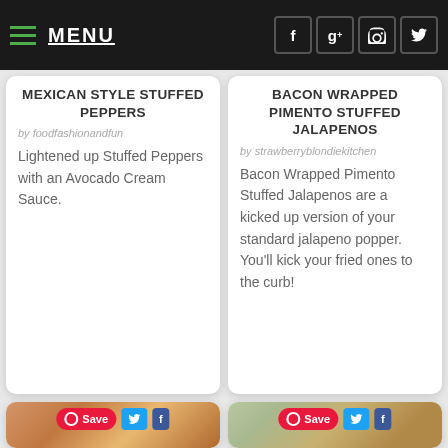MENU
MEXICAN STYLE STUFFED PEPPERS
by foodfashionandfun
Lightened up Stuffed Peppers with an Avocado Cream Sauce.
BACON WRAPPED PIMENTO STUFFED JALAPENOS
by strawberryblondiekitchen
Bacon Wrapped Pimento Stuffed Jalapenos are a kicked up version of your standard jalapeno popper. You'll kick your fried ones to the curb!
[Figure (photo): Food photo with Save, Twitter, Facebook share buttons overlay - stuffed peppers dish]
[Figure (photo): Food photo with Save, Twitter, Facebook share buttons overlay - stuffed jalapeno cups on wooden board]